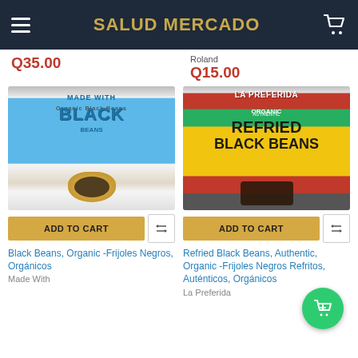SALUD MERCADO
Q35.00
Roland
Q15.00
[Figure (photo): Can of Made With Black Beans]
[Figure (photo): Can of La Preferida Organic Refried Black Beans]
ADD TO CART
ADD TO CART
Black Beans, Organic -Frijoles Negros, Orgánicos
Made With
Refried Black Beans, Authentic, Organic -Frijoles Negros Refritos, Auténticos, Orgánicos
La Preferida